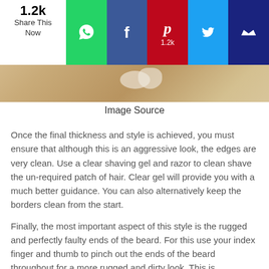[Figure (screenshot): Social sharing bar with WhatsApp, Facebook, Pinterest, Twitter, and another button. Share count shows 1.2k. Pinterest shows 1.2k count.]
[Figure (photo): Partial image of shaving items on a wooden surface, showing a bowl or cup.]
Image Source
Once the final thickness and style is achieved, you must ensure that although this is an aggressive look, the edges are very clean. Use a clear shaving gel and razor to clean shave the un-required patch of hair. Clear gel will provide you with a much better guidance. You can also alternatively keep the borders clean from the start.
Finally, the most important aspect of this style is the rugged and perfectly faulty ends of the beard. For this use your index finger and thumb to pinch out the ends of the beard throughout for a more rugged and dirty look. This is something you may have to do more than once a day to maintain the genuine style.